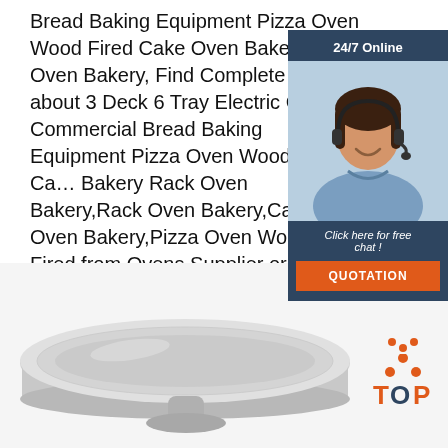Bread Baking Equipment Pizza Oven Wood Fired Cake Oven Bakery Rack Oven Bakery, Find Complete Details about 3 Deck 6 Tray Electric Control Commercial Bread Baking Equipment Pizza Oven Wood Fired Cake Oven Bakery Rack Oven Bakery,Rack Oven Bakery,Cake Oven Bakery,Pizza Oven Wood Fired from Ovens Supplier or Manufacturer Luohe ...
[Figure (screenshot): Chat widget with '24/7 Online' header, photo of a woman wearing a headset, 'Click here for free chat!' text, and an orange QUOTATION button]
[Figure (photo): Silver/stainless steel baking tray on a stand, photographed from a slight angle showing the rectangular tray with raised edges]
[Figure (logo): TOP badge logo with orange dots arranged in a triangle above the word TOP in orange and dark blue letters]